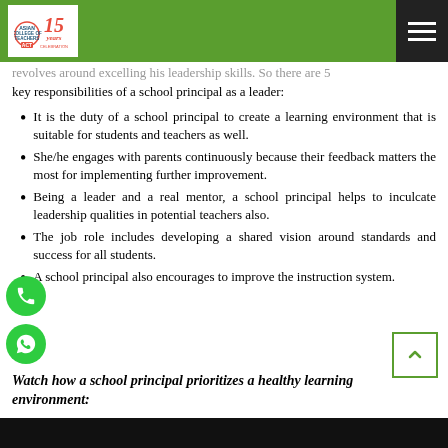Asian College of Teachers – 15 Years Celebration
revolves around excelling his leadership skills. So there are 5 key responsibilities of a school principal as a leader:
It is the duty of a school principal to create a learning environment that is suitable for students and teachers as well.
She/he engages with parents continuously because their feedback matters the most for implementing further improvement.
Being a leader and a real mentor, a school principal helps to inculcate leadership qualities in potential teachers also.
The job role includes developing a shared vision around standards and success for all students.
A school principal also encourages to improve the instruction system.
Watch how a school principal prioritizes a healthy learning environment:
[Figure (screenshot): Black video thumbnail at the bottom of the page]